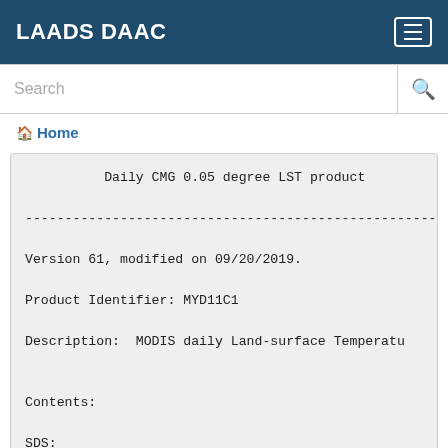LAADS DAAC
Search
Home
Daily CMG 0.05 degree LST product

--------------------------------------------------------

Version 61, modified on 09/20/2019.

Product Identifier: MYD11C1

Description:  MODIS daily Land-surface Temperatu


Contents:

SDS:
LST_Day_CMG